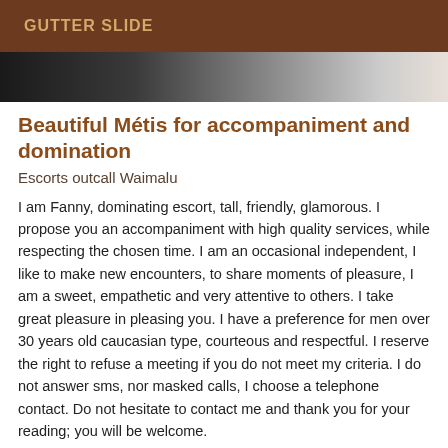GUTTER SLIDE
[Figure (photo): Partial photo showing a person, cropped, dark tones on left fading to lighter tones on right]
Beautiful Métis for accompaniment and domination
Escorts outcall Waimalu
I am Fanny, dominating escort, tall, friendly, glamorous. I propose you an accompaniment with high quality services, while respecting the chosen time. I am an occasional independent, I like to make new encounters, to share moments of pleasure, I am a sweet, empathetic and very attentive to others. I take great pleasure in pleasing you. I have a preference for men over 30 years old caucasian type, courteous and respectful. I reserve the right to refuse a meeting if you do not meet my criteria. I do not answer sms, nor masked calls, I choose a telephone contact. Do not hesitate to contact me and thank you for your reading; you will be welcome.